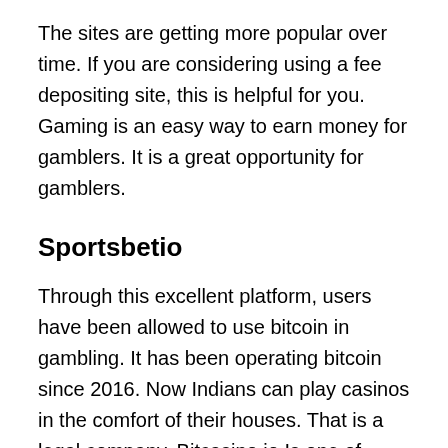The sites are getting more popular over time. If you are considering using a fee depositing site, this is helpful for you. Gaming is an easy way to earn money for gamblers. It is a great opportunity for gamblers.
Sportsbetio
Through this excellent platform, users have been allowed to use bitcoin in gambling. It has been operating bitcoin since 2016. Now Indians can play casinos in the comfort of their houses. That is a legal company. Bitcasino.io Is one of those giant sites. That people can use due to available promotions and the ease of access the last of them.